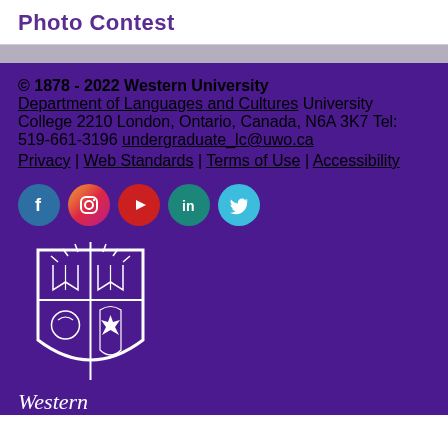Photo Contest
© 1878 - 2022 Western University
Department of Languages and Cultures
University College 2210
London, Ontario, Canada, N6A 3K7
Tel: 519-661-3196
undergraduate_lc@uwo.ca
Privacy | Web Standards | Terms of Use | Accessibility
[Figure (logo): Social media icons: Facebook, Instagram, YouTube, LinkedIn, Twitter]
[Figure (logo): Western University shield crest logo with wordmark 'Western']